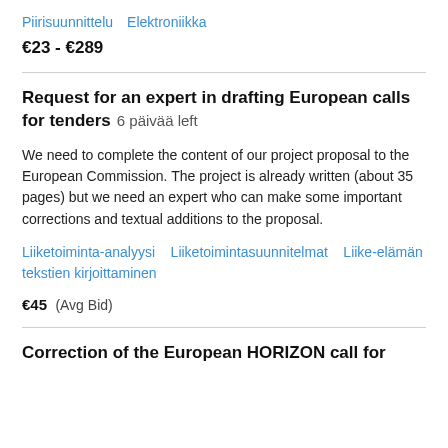Piirisuunnittelu   Elektroniikka
€23 - €289
Request for an expert in drafting European calls for tenders  6 päivää left
We need to complete the content of our project proposal to the European Commission. The project is already written (about 35 pages) but we need an expert who can make some important corrections and textual additions to the proposal.
Liiketoiminta-analyysi   Liiketoimintasuunnitelmat   Liike-elämän tekstien kirjoittaminen
€45  (Avg Bid)
Correction of the European HORIZON call for